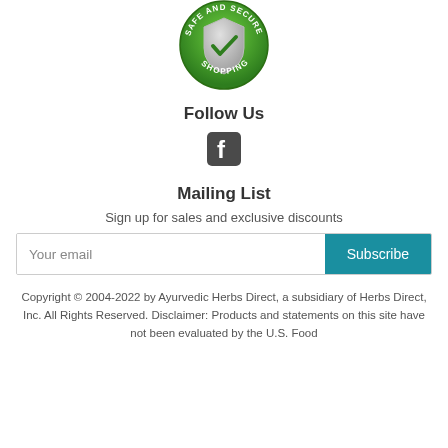[Figure (logo): Safe and Secure Shopping badge — green circular shield with checkmark]
Follow Us
[Figure (logo): Facebook logo icon (dark grey square with white 'f')]
Mailing List
Sign up for sales and exclusive discounts
Your email  [Subscribe]
Copyright © 2004-2022 by Ayurvedic Herbs Direct, a subsidiary of Herbs Direct, Inc. All Rights Reserved. Disclaimer: Products and statements on this site have not been evaluated by the U.S. Food